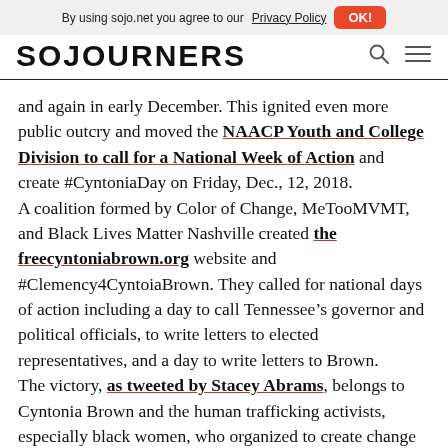By using sojo.net you agree to our Privacy Policy  OK!
SOJOURNERS
and again in early December. This ignited even more public outcry and moved the NAACP Youth and College Division to call for a National Week of Action and create #CyntoniaDay on Friday, Dec., 12, 2018.
A coalition formed by Color of Change, MeTooMVMT, and Black Lives Matter Nashville created the freecyntoniabrown.org website and #Clemency4CyntoiaBrown. They called for national days of action including a day to call Tennessee’s governor and political officials, to write letters to elected representatives, and a day to write letters to Brown.
The victory, as tweeted by Stacey Abrams, belongs to Cyntonia Brown and the human trafficking activists, especially black women, who organized to create change